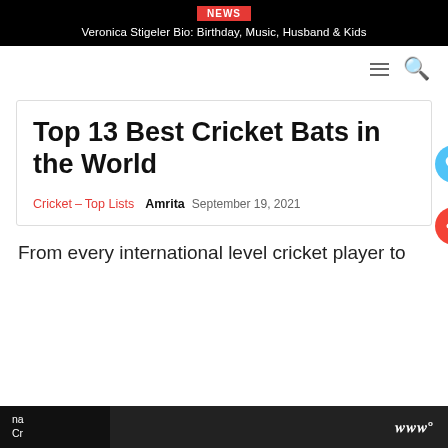NEWS — Veronica Stigeler Bio: Birthday, Music, Husband & Kids
Top 13 Best Cricket Bats in the World
Cricket – Top Lists   Amrita   September 19, 2021
From every international level cricket player to